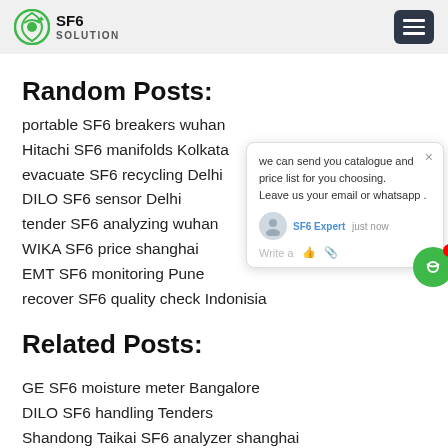SF6 SOLUTION
Random Posts:
portable SF6 breakers wuhan
Hitachi SF6 manifolds Kolkata
evacuate SF6 recycling Delhi
DILO SF6 sensor Delhi
tender SF6 analyzing wuhan
WIKA SF6 price shanghai
EMT SF6 monitoring Pune
recover SF6 quality check Indonisia
Related Posts:
GE SF6 moisture meter Bangalore
DILO SF6 handling Tenders
Shandong Taikai SF6 analyzer shanghai